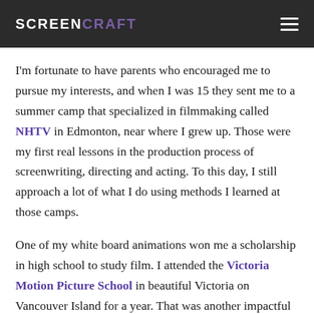SCREENCRAFT
I'm fortunate to have parents who encouraged me to pursue my interests, and when I was 15 they sent me to a summer camp that specialized in filmmaking called NHTV in Edmonton, near where I grew up. Those were my first real lessons in the production process of screenwriting, directing and acting. To this day, I still approach a lot of what I do using methods I learned at those camps.
One of my white board animations won me a scholarship in high school to study film. I attended the Victoria Motion Picture School in beautiful Victoria on Vancouver Island for a year. That was another impactful experience that resulted in the